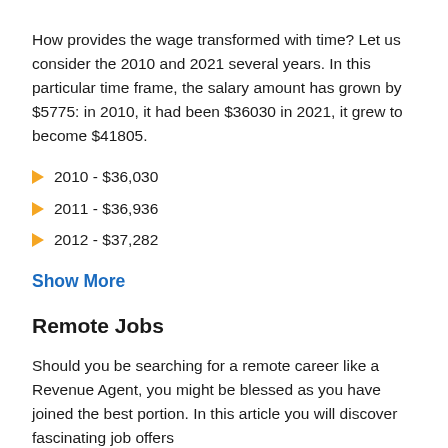How provides the wage transformed with time? Let us consider the 2010 and 2021 several years. In this particular time frame, the salary amount has grown by $5775: in 2010, it had been $36030 in 2021, it grew to become $41805.
2010 - $36,030
2011 - $36,936
2012 - $37,282
Show More
Remote Jobs
Should you be searching for a remote career like a Revenue Agent, you might be blessed as you have joined the best portion. In this article you will discover fascinating job offers